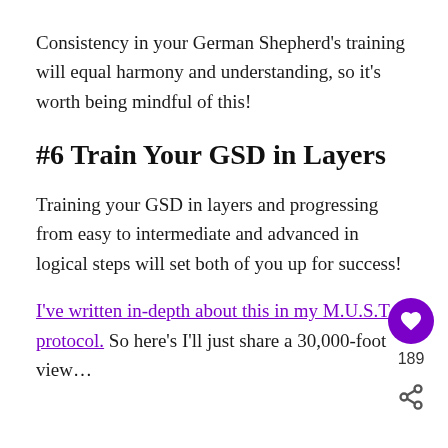Consistency in your German Shepherd's training will equal harmony and understanding, so it's worth being mindful of this!
#6 Train Your GSD in Layers
Training your GSD in layers and progressing from easy to intermediate and advanced in logical steps will set both of you up for success!
I've written in-depth about this in my M.U.S.T protocol. So here's I'll just share a 30,000-foot view…